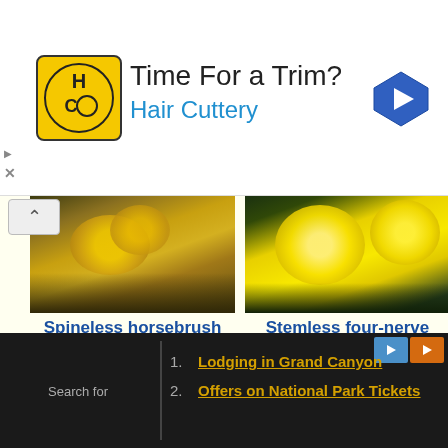[Figure (screenshot): Advertisement banner for Hair Cuttery showing logo, text 'Time For a Trim? Hair Cuttery', and a navigation arrow icon]
[Figure (photo): Photo of Spineless horsebrush (Tetradymia canescens) - yellow flowers]
Spineless horsebrush
Tetradymia canescens
[Figure (photo): Photo of Stemless four-nerve daisy (Tetraneuris acaulis) - bright yellow daisy flowers]
Stemless four-nerve daisy
Tetraneuris acaulis
[Figure (photo): Photo of pink-red flower partially visible at bottom left]
[Figure (photo): Photo of green bumpy fruit/seed head partially visible at bottom right]
[Figure (screenshot): Bottom advertisement bar with dark background showing 'Search for' label and two links: 1. Lodging in Grand Canyon, 2. Offers on National Park Tickets]